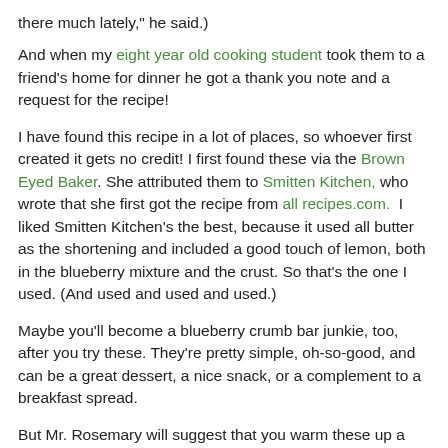there much lately," he said.)
And when my eight year old cooking student took them to a friend's home for dinner he got a thank you note and a request for the recipe!
I have found this recipe in a lot of places, so whoever first created it gets no credit! I first found these via the Brown Eyed Baker. She attributed them to Smitten Kitchen, who wrote that she first got the recipe from all recipes.com.  I liked Smitten Kitchen's the best, because it used all butter as the shortening and included a good touch of lemon, both in the blueberry mixture and the crust. So that's the one I used. (And used and used and used.)
Maybe you'll become a blueberry crumb bar junkie, too, after you try these. They're pretty simple, oh-so-good, and can be a great dessert, a nice snack, or a complement to a breakfast spread.
But Mr. Rosemary will suggest that you warm these up a little and add a dollop of Cool Whip.  And I might add, Cool Whip